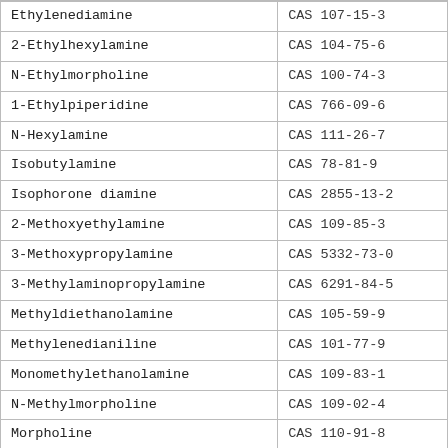| Ethylenediamine | CAS 107-15-3 |
| 2-Ethylhexylamine | CAS 104-75-6 |
| N-Ethylmorpholine | CAS 100-74-3 |
| 1-Ethylpiperidine | CAS 766-09-6 |
| N-Hexylamine | CAS 111-26-7 |
| Isobutylamine | CAS 78-81-9 |
| Isophorone diamine | CAS 2855-13-2 |
| 2-Methoxyethylamine | CAS 109-85-3 |
| 3-Methoxypropylamine | CAS 5332-73-0 |
| 3-Methylaminopropylamine | CAS 6291-84-5 |
| Methyldiethanolamine | CAS 105-59-9 |
| Methylenedianiline | CAS 101-77-9 |
| Monomethylethanolamine | CAS 109-83-1 |
| N-Methylmorpholine | CAS 109-02-4 |
| Morpholine | CAS 110-91-8 |
| Neopentanediamine | CAS 7328-91-8 |